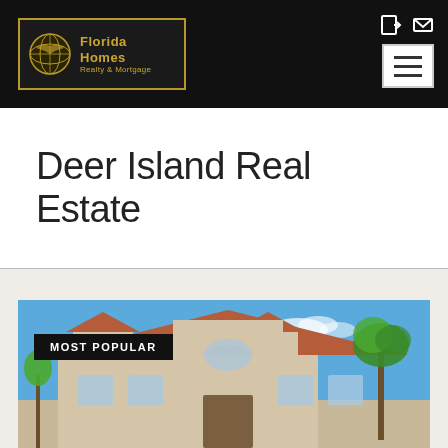[Figure (logo): Florida Homes Realty & Mortgage logo in a dark bordered box with gold globe icon and gold text]
Deer Island Real Estate
[Figure (photo): Florida luxury home with terracotta tile roof, arched windows, stucco exterior, blue sky, and palm trees. MOST POPULAR badge overlay.]